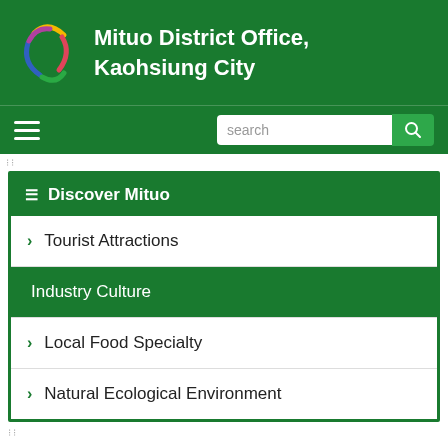Mituo District Office, Kaohsiung City
Tourist Attractions
Industry Culture
Local Food Specialty
Natural Ecological Environment
Industry Culture